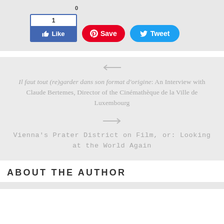[Figure (screenshot): Social sharing buttons: Facebook Like (count 1), Pinterest Save, and Twitter Tweet buttons on a grey background bar]
← Il faut tout (re)garder dans son format d'origine: An Interview with Claude Bertemes, Director of the Cinémathèque de la Ville de Luxembourg
→ Vienna's Prater District on Film, or: Looking at the World Again
ABOUT THE AUTHOR